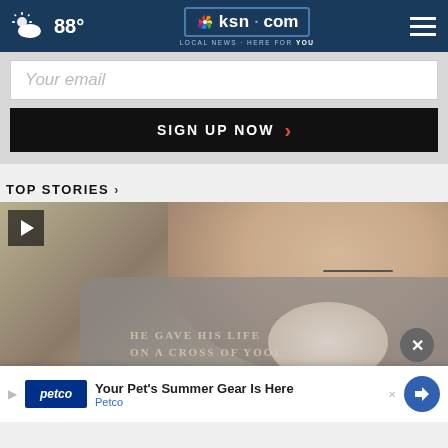88° ksn.com LOCAL NEWS · HERE FOR YOU
Your email
SIGN UP NOW ›
TOP STORIES ›
[Figure (photo): Close-up photo of an older bearded man with glasses, wearing a gray t-shirt. Overlaid text reads 'HE GAVE HIS LIFE ON A CROSS OF YOOL' and a close button (×). Below is a Petco ad banner reading 'Your Pet's Summer Gear Is Here' with Petco branding.]